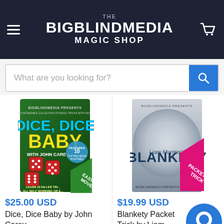THE BIGBLINDMEDIA MAGIC SHOP
What are you looking for?
[Figure (photo): Product image: Dice, Dice Baby DVD by John Carey - green cover with red dice and yellow text]
$25.00 USD
Dice, Dice Baby by John Carey
16 reviews
[Figure (photo): Product image: Blankety Packet Trick DVD by Liam Montier - grey cover with blue text and pink 'Packet Trick' banner]
$19.99 USD
Blankety Packet Trick by Liam Montier
8 reviews